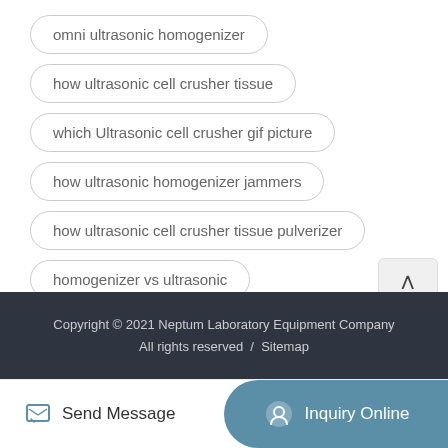omni ultrasonic homogenizer
how ultrasonic cell crusher tissue
which Ultrasonic cell crusher gif picture
how ultrasonic homogenizer jammers
how ultrasonic cell crusher tissue pulverizer
homogenizer vs ultrasonic
Copyright © 2021 Neptum Laboratory Equipment Company All rights reserved / Sitemap
Send Message  Inquiry Online